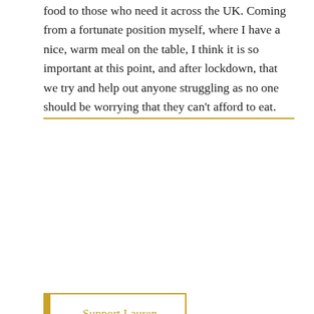food to those who need it across the UK. Coming from a fortunate position myself, where I have a nice, warm meal on the table, I think it is so important at this point, and after lockdown, that we try and help out anyone struggling as no one should be worrying that they can't afford to eat.
Support Lauren
Billy Hughes
[Figure (photo): Photograph of a brick building with white-framed windows, partially visible, outdoors.]